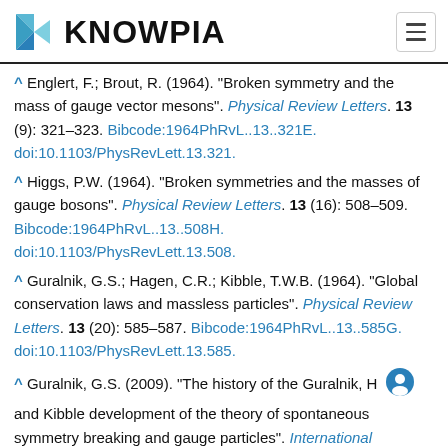KNOWPIA
^ Englert, F.; Brout, R. (1964). "Broken symmetry and the mass of gauge vector mesons". Physical Review Letters. 13 (9): 321–323. Bibcode:1964PhRvL..13..321E. doi:10.1103/PhysRevLett.13.321.
^ Higgs, P.W. (1964). "Broken symmetries and the masses of gauge bosons". Physical Review Letters. 13 (16): 508–509. Bibcode:1964PhRvL..13..508H. doi:10.1103/PhysRevLett.13.508.
^ Guralnik, G.S.; Hagen, C.R.; Kibble, T.W.B. (1964). "Global conservation laws and massless particles". Physical Review Letters. 13 (20): 585–587. Bibcode:1964PhRvL..13..585G. doi:10.1103/PhysRevLett.13.585.
^ Guralnik, G.S. (2009). "The history of the Guralnik, H and Kibble development of the theory of spontaneous symmetry breaking and gauge particles". International